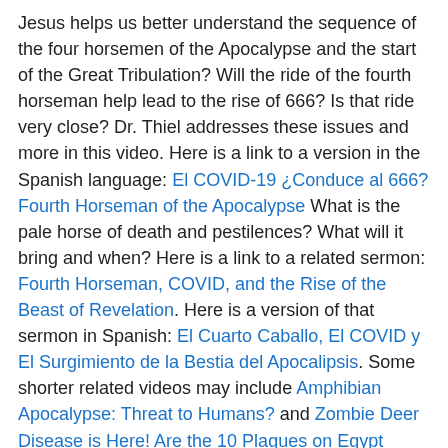Jesus helps us better understand the sequence of the four horsemen of the Apocalypse and the start of the Great Tribulation? Will the ride of the fourth horseman help lead to the rise of 666? Is that ride very close? Dr. Thiel addresses these issues and more in this video. Here is a link to a version in the Spanish language: El COVID-19 ¿Conduce al 666?
Fourth Horseman of the Apocalypse What is the pale horse of death and pestilences? What will it bring and when? Here is a link to a related sermon: Fourth Horseman, COVID, and the Rise of the Beast of Revelation. Here is a version of that sermon in Spanish: El Cuarto Caballo, El COVID y El Surgimiento de la Bestia del Apocalipsis. Some shorter related videos may include Amphibian Apocalypse: Threat to Humans? and Zombie Deer Disease is Here! Are the 10 Plagues on Egypt Coming? Here is a version of the article in Spanish: El cuarto jinete de Apocalipsis, el caballo pálido de muerte y pestilencia.
Does God Have a 6,000 Year Plan? What Year Does the 6,000 Years End? Was a 6000 year time allowed for